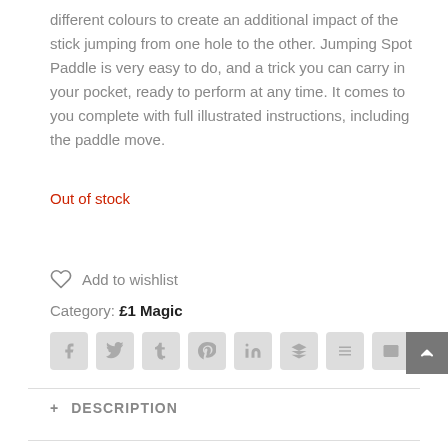different colours to create an additional impact of the stick jumping from one hole to the other. Jumping Spot Paddle is very easy to do, and a trick you can carry in your pocket, ready to perform at any time. It comes to you complete with full illustrated instructions, including the paddle move.
Out of stock
Add to wishlist
Category: £1 Magic
+ DESCRIPTION